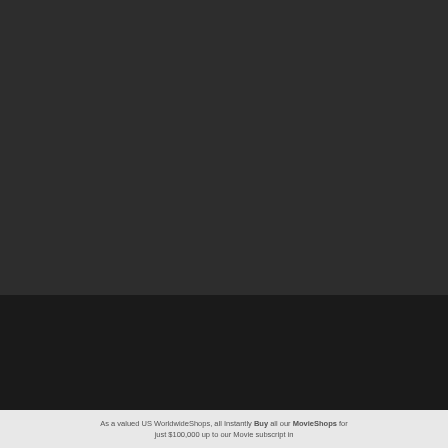[Figure (screenshot): Dark background area taking up top two-thirds of the page, part of a Samsung Neo QLED 8K advertisement webpage screenshot]
SAMSUNG
Watch the legend unfold on
Neo QLED 8K
No compatible source was found for this
[Figure (photo): TV screen showing a reddish-orange close-up image, appears to be a face or portrait in warm tones]
8K
As a valued US WorldwideShops, all Instantly Buy all our MovieShops for just $100,000 up to our Movie subscript in